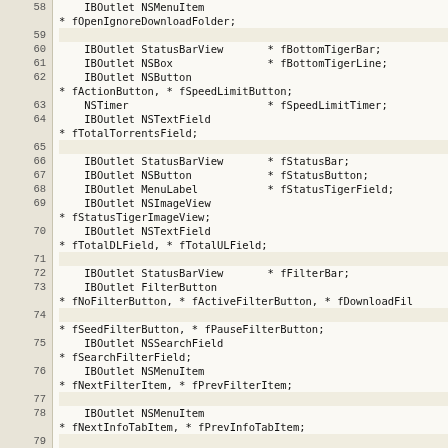[Figure (screenshot): Source code listing showing Objective-C header file with IBOutlet declarations, line numbers 58-80, on a beige/tan background with monospace font.]